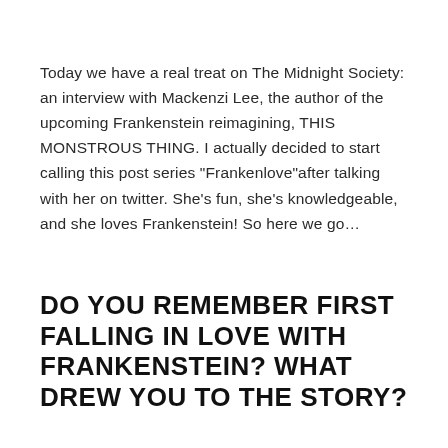Today we have a real treat on The Midnight Society: an interview with Mackenzi Lee, the author of the upcoming Frankenstein reimagining, THIS MONSTROUS THING. I actually decided to start calling this post series "Frankenlove"after talking with her on twitter. She's fun, she's knowledgeable, and she loves Frankenstein! So here we go…
DO YOU REMEMBER FIRST FALLING IN LOVE WITH FRANKENSTEIN? WHAT DREW YOU TO THE STORY?